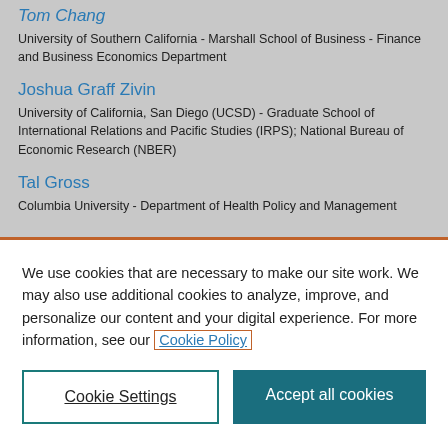Tom Chang
University of Southern California - Marshall School of Business - Finance and Business Economics Department
Joshua Graff Zivin
University of California, San Diego (UCSD) - Graduate School of International Relations and Pacific Studies (IRPS); National Bureau of Economic Research (NBER)
Tal Gross
Columbia University - Department of Health Policy and Management
We use cookies that are necessary to make our site work. We may also use additional cookies to analyze, improve, and personalize our content and your digital experience. For more information, see our Cookie Policy
Cookie Settings
Accept all cookies